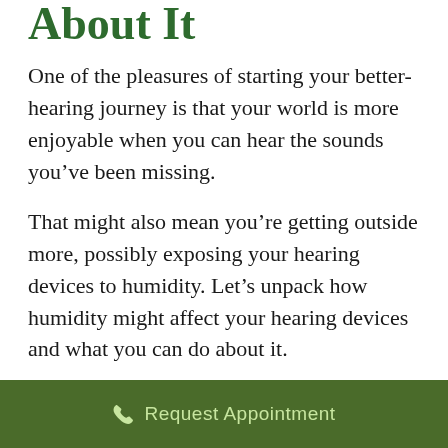About It
One of the pleasures of starting your better-hearing journey is that your world is more enjoyable when you can hear the sounds you’ve been missing.
That might also mean you’re getting outside more, possibly exposing your hearing devices to humidity. Let’s unpack how humidity might affect your hearing devices and what you can do about it.
What Is Humidity?
Humidity is a measure of the amount of
Request Appointment